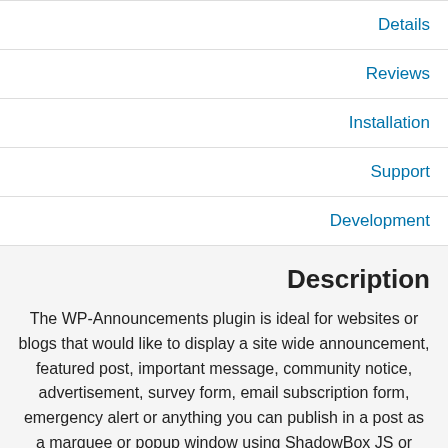Details
Reviews
Installation
Support
Development
Description
The WP-Announcements plugin is ideal for websites or blogs that would like to display a site wide announcement, featured post, important message, community notice, advertisement, survey form, email subscription form, emergency alert or anything you can publish in a post as a marquee or popup window using ShadowBox JS or ThickBox